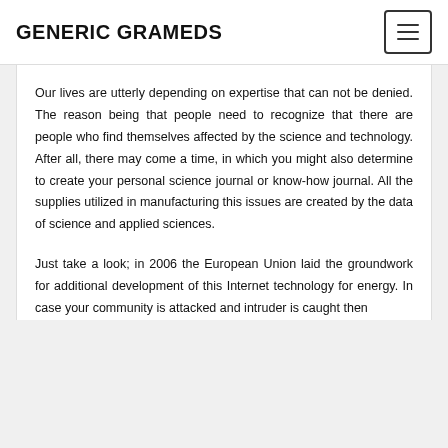GENERIC GRAMEDS
Our lives are utterly depending on expertise that can not be denied. The reason being that people need to recognize that there are people who find themselves affected by the science and technology. After all, there may come a time, in which you might also determine to create your personal science journal or know-how journal. All the supplies utilized in manufacturing this issues are created by the data of science and applied sciences.
Just take a look; in 2006 the European Union laid the groundwork for additional development of this Internet technology for energy. In case your community is attacked and intruder is caught then